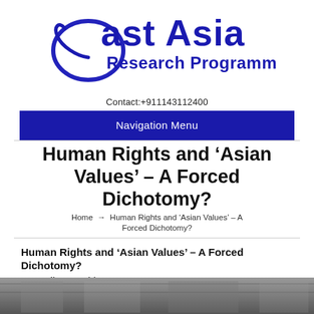[Figure (logo): East Asia Research Programme logo in blue cursive/bold lettering]
Contact:+911143112400
Navigation Menu
Human Rights and ‘Asian Values’ – A Forced Dichotomy?
Home → Human Rights and ‘Asian Values’ – A Forced Dichotomy?
Human Rights and ‘Asian Values’ – A Forced Dichotomy?
-Anandita Bagchi
[Figure (photo): Black and white photograph strip at the bottom of the page]